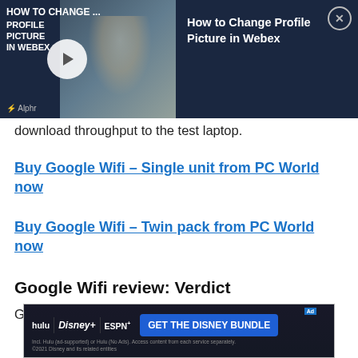[Figure (screenshot): Video thumbnail for 'How to Change Profile Picture in Webex' with play button, dark navy background with text overlay and a person at a computer. Right side shows title and close button.]
download throughput to the test laptop.
Buy Google Wifi – Single unit from PC World now
Buy Google Wifi – Twin pack from PC World now
Google Wifi review: Verdict
Google Wifi is an impressive achievement for a
[Figure (screenshot): Advertisement banner for 'Get The Disney Bundle' featuring Hulu, Disney+, and ESPN+ logos on a dark background.]